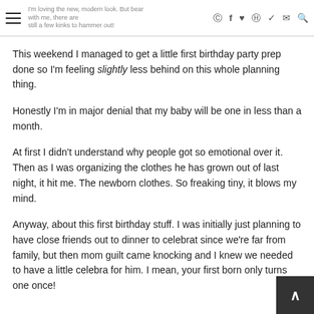noticed you, the blog got a pretty big face lift on Friday and I'm loving the new, modern look. But bear with me, there are still a few kinks to hammer out!
This weekend I managed to get a little first birthday party prep done so I'm feeling slightly less behind on this whole planning thing.
Honestly I'm in major denial that my baby will be one in less than a month.
At first I didn't understand why people got so emotional over it. Then as I was organizing the clothes he has grown out of last night, it hit me. The newborn clothes. So freaking tiny, it blows my mind.
Anyway, about this first birthday stuff. I was initially just planning to have close friends out to dinner to celebrate since we're far from family, but then mom guilt came knocking and I knew we needed to have a little celebration for him. I mean, your first born only turns one once!